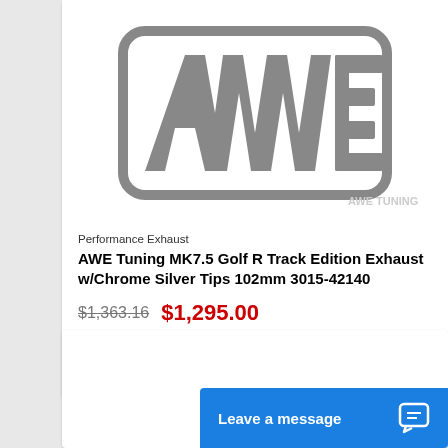[Figure (logo): AWE Tuning brand logo in gray on white background]
Performance Exhaust
AWE Tuning MK7.5 Golf R Track Edition Exhaust w/Chrome Silver Tips 102mm 3015-42140
$1,363.16  $1,295.00
Add to cart
Leave a message